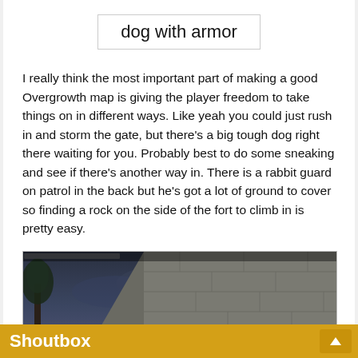dog with armor
I really think the most important part of making a good Overgrowth map is giving the player freedom to take things on in different ways. Like yeah you could just rush in and storm the gate, but there's a big tough dog right there waiting for you. Probably best to do some sneaking and see if there's another way in. There is a rabbit guard on patrol in the back but he's got a lot of ground to cover so finding a rock on the side of the fort to climb in is pretty easy.
[Figure (screenshot): Game screenshot from Overgrowth showing a stone fort wall at dusk/night with a small character figure visible at the bottom right, a glowing cyan circle marker near the left, and a dark moody sky with trees on the left side.]
Shoutbox